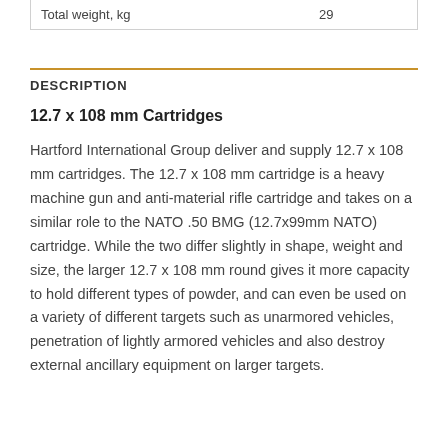| Total weight, kg | 29 |
DESCRIPTION
12.7 x 108 mm Cartridges
Hartford International Group deliver and supply 12.7 x 108 mm cartridges. The 12.7 x 108 mm cartridge is a heavy machine gun and anti-material rifle cartridge and takes on a similar role to the NATO .50 BMG (12.7x99mm NATO) cartridge. While the two differ slightly in shape, weight and size, the larger 12.7 x 108 mm round gives it more capacity to hold different types of powder, and can even be used on a variety of different targets such as unarmored vehicles, penetration of lightly armored vehicles and also destroy external ancillary equipment on larger targets.